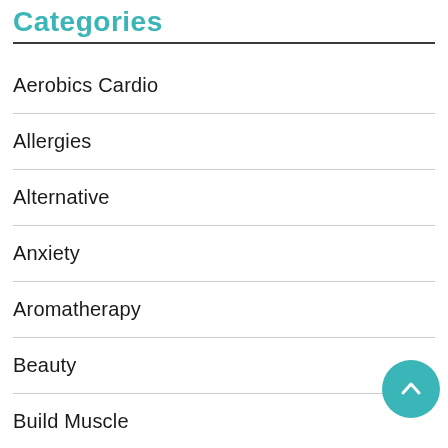Categories
Aerobics Cardio
Allergies
Alternative
Anxiety
Aromatherapy
Beauty
Build Muscle
Cosmetic Surgery
Dental